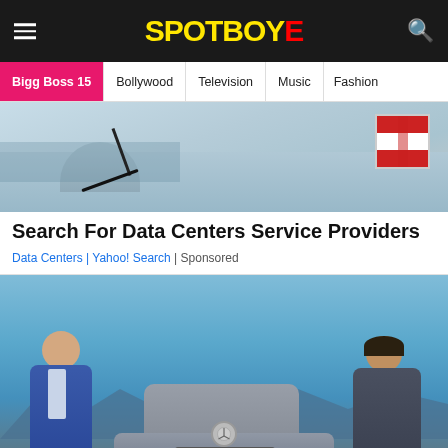SPOTBOYE
Bigg Boss 15 | Bollywood | Television | Music | Fashion
[Figure (photo): Advertisement image showing a car interior/exterior close-up with a red and white gift box in the top right corner]
Search For Data Centers Service Providers
Data Centers | Yahoo! Search | Sponsored
[Figure (photo): Two people (a man in a blue suit on the left and a woman in a dark grey outfit on the right) posing in front of a Mercedes-Benz car against a blue backdrop with mountains]